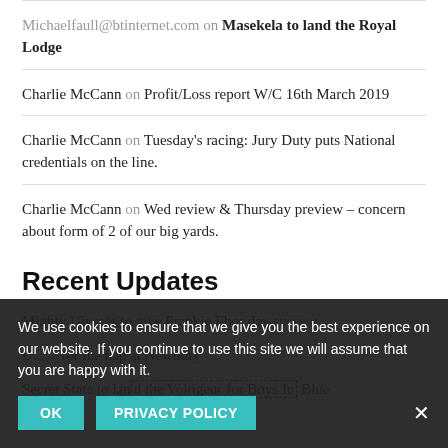Michaelfaull@btinternet.com on Masekela to land the Royal Lodge
Charlie McCann on Profit/Loss report W/C 16th March 2019
Charlie McCann on Tuesday's racing: Jury Duty puts National credentials on the line.
Charlie McCann on Wed review & Thursday preview – concern about form of 2 of our big yards.
Recent Updates
Mighty Ulysses to give Frankie Ebor day success
U... ...for the nap at Newbury
Secret State to land the Voltigeur for Boys In Blue
We use cookies to ensure that we give you the best experience on our website. If you continue to use this site we will assume that you are happy with it.